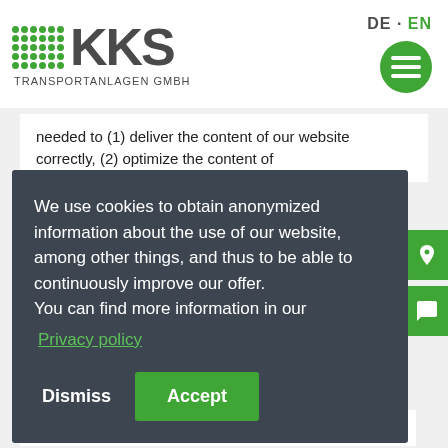[Figure (logo): KKS Transportanlagen GmbH logo with green dot grid and grey KKS lettering]
needed to (1) deliver the content of our website correctly, (2) optimize the content of
We use cookies to obtain anonymized information about the use of our website, among other things, and thus to be able to continuously improve our offer.
You can find more information in our
Privacy policy
Dismiss
Accept
optimal level of protection for the personal